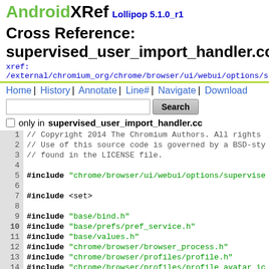AndroidXRef Lollipop 5.1.0_r1
Cross Reference: supervised_user_import_handler.cc
xref: /external/chromium_org/chrome/browser/ui/webui/options/su
Home | History | Annotate | Line# | Navigate | Download
Search only in supervised_user_import_handler.cc
1 // Copyright 2014 The Chromium Authors. All rights
2 // Use of this source code is governed by a BSD-sty
3 // found in the LICENSE file.
4 
5 #include "chrome/browser/ui/webui/options/supervise
6 
7 #include <set>
8 
9 #include "base/bind.h"
10 #include "base/prefs/pref_service.h"
11 #include "base/values.h"
12 #include "chrome/browser/browser_process.h"
13 #include "chrome/browser/profiles/profile.h"
14 #include "chrome/browser/profiles/profile_avatar_ic
15 #include "chrome/browser/profiles/profile_info_cach